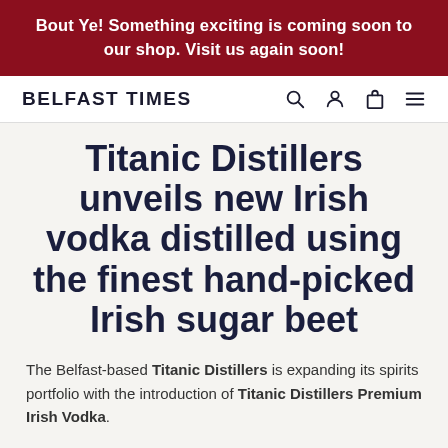Bout Ye! Something exciting is coming soon to our shop. Visit us again soon!
BELFAST TIMES
Titanic Distillers unveils new Irish vodka distilled using the finest hand-picked Irish sugar beet
The Belfast-based Titanic Distillers is expanding its spirits portfolio with the introduction of Titanic Distillers Premium Irish Vodka.